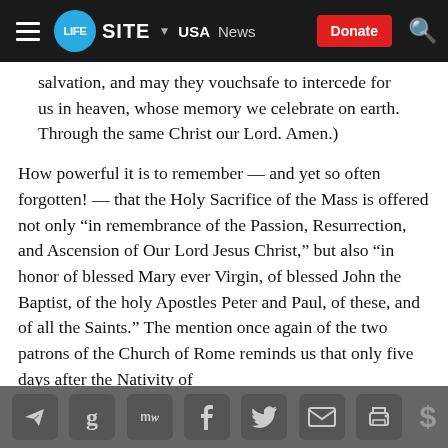LifeSite — USA News — Donate
...and may they work and merit and be our salvation, and may they vouchsafe to intercede for us in heaven, whose memory we celebrate on earth. Through the same Christ our Lord. Amen.)
How powerful it is to remember — and yet so often forgotten! — that the Holy Sacrifice of the Mass is offered not only “in remembrance of the Passion, Resurrection, and Ascension of Our Lord Jesus Christ,” but also “in honor of blessed Mary ever Virgin, of blessed John the Baptist, of the holy Apostles Peter and Paul, of these, and of all the Saints.” The mention once again of the two patrons of the Church of Rome reminds us that only five days after the Nativity of
Social share icons: Telegram, Google, MeWe, Facebook, Twitter, Email, Print, Dollar